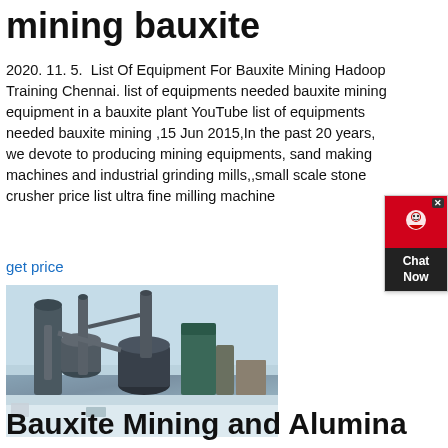mining bauxite
2020. 11. 5.  List Of Equipment For Bauxite Mining Hadoop Training Chennai. list of equipments needed bauxite mining equipment in a bauxite plant YouTube list of equipments needed bauxite mining ,15 Jun 2015,In the past 20 years, we devote to producing mining equipments, sand making machines and industrial grinding mills,,small scale stone crusher price list ultra fine milling machine
get price
[Figure (photo): Industrial mining/milling machinery with large cylindrical towers and pipes outdoors in a snowy setting]
Bauxite Mining and Alumina